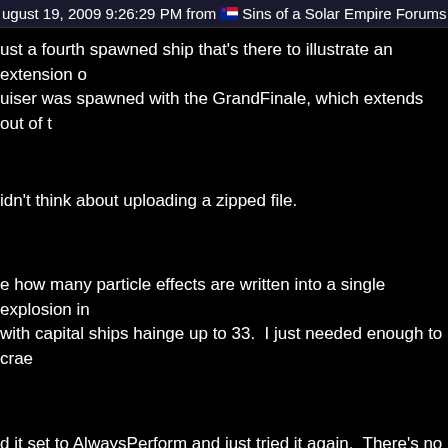ugust 19, 2009 9:26:29 PM from Sins of a Solar Empire Forums
ust a fourth spawned ship that's there to illustrate an extension o
uiser was spawned with the GrandFinale, which extends out of t
idn't think about uploading a zipped file.
e how many particle effects are written into a single explosion in
with capital ships hainge up to 33.  I just needed enough to crae
d it set to AlwaysPerform and just tried it again.  There's no chan
d cancel out, but there was no effect.  This really is turning out t
h I had a fuller understanding of everything in the coding that I'm